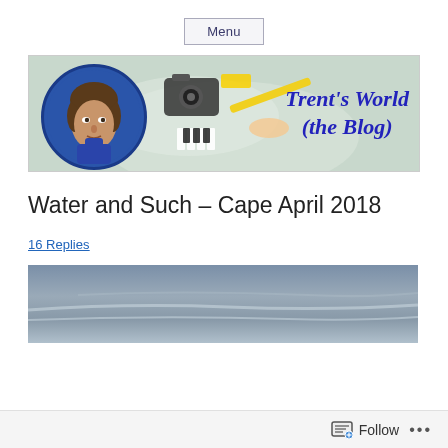Menu
[Figure (illustration): Blog banner for Trent's World (the Blog) showing a painted portrait of a man in a blue circle on the left, a camera and art supplies in the center, and the blog title 'Trent's World (the Blog)' in dark blue italic on the right.]
Water and Such – Cape April 2018
16 Replies
[Figure (photo): Partial photo showing a grey overcast sky, likely a seascape or landscape from Cape Cod area, April 2018.]
Follow   ...